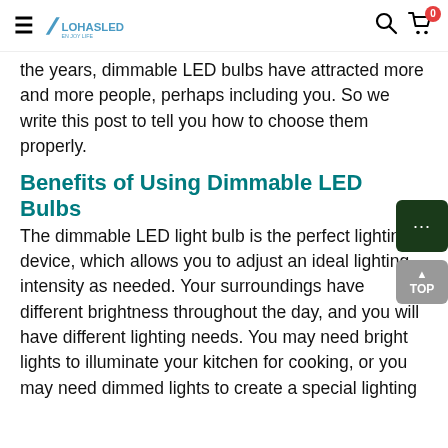LOHASLED — navigation header with hamburger menu, logo, search icon, cart icon with badge 0
the years, dimmable LED bulbs have attracted more and more people, perhaps including you. So we write this post to tell you how to choose them properly.
Benefits of Using Dimmable LED Bulbs
The dimmable LED light bulb is the perfect lighting device, which allows you to adjust an ideal lighting intensity as needed. Your surroundings have different brightness throughout the day, and you will have different lighting needs. You may need bright lights to illuminate your kitchen for cooking, or you may need dimmed lights to create a special lighting